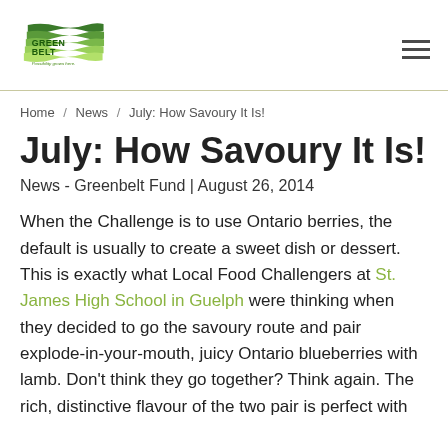Greenbelt Fund — Possibility grows here.
Home / News / July: How Savoury It Is!
July: How Savoury It Is!
News - Greenbelt Fund | August 26, 2014
When the Challenge is to use Ontario berries, the default is usually to create a sweet dish or dessert. This is exactly what Local Food Challengers at St. James High School in Guelph were thinking when they decided to go the savoury route and pair explode-in-your-mouth, juicy Ontario blueberries with lamb. Don't think they go together? Think again. The rich, distinctive flavour of the two pair is perfect with